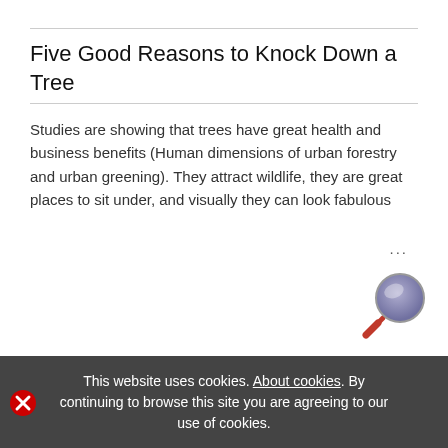Five Good Reasons to Knock Down a Tree
Studies are showing that trees have great health and business benefits (Human dimensions of urban forestry and urban greening). They attract wildlife, they are great places to sit under, and visually they can look fabulous ...
Published on 22-Jan-2016 06:27
Filed under: Trees, Landscape gardening, Environmental Benefits of Trees, Tree Protection, Arboriculture, storm damage [Category]
This website uses cookies. About cookies. By continuing to browse this site you are agreeing to our use of cookies.